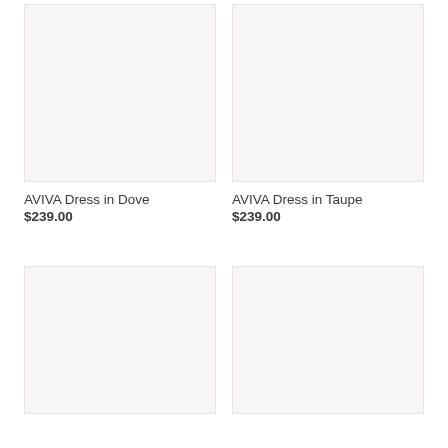[Figure (photo): Product image placeholder for AVIVA Dress in Dove, light beige/off-white background]
[Figure (photo): Product image placeholder for AVIVA Dress in Taupe, light beige/off-white background]
AVIVA Dress in Dove
$239.00
AVIVA Dress in Taupe
$239.00
[Figure (photo): Product image placeholder, bottom left, light beige/off-white background]
[Figure (photo): Product image placeholder, bottom right, light beige/off-white background]